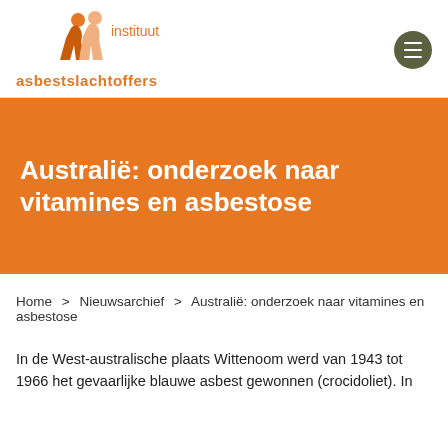[Figure (logo): Instituut Asbestslachtoffers logo with two orange figures and orange text]
Australië: onderzoek naar vitamines en asbestose
Home > Nieuwsarchief > Australië: onderzoek naar vitamines en asbestose
In de West-australische plaats Wittenoom werd van 1943 tot 1966 het gevaarlijke blauwe asbest gewonnen (crocidoliet). In